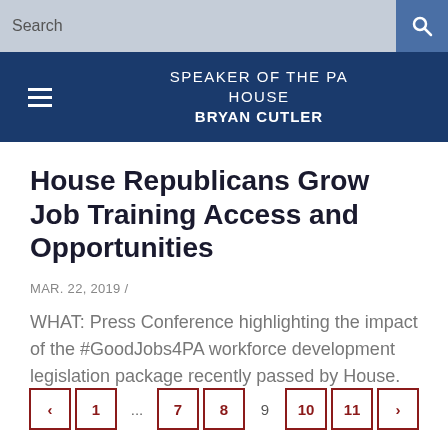Search | SPEAKER OF THE PA HOUSE | BRYAN CUTLER
House Republicans Grow Job Training Access and Opportunities
MAR. 22, 2019 /
WHAT: Press Conference highlighting the impact of the #GoodJobs4PA workforce development legislation package recently passed by House.
< 1 ... 7 8 9 10 11 >